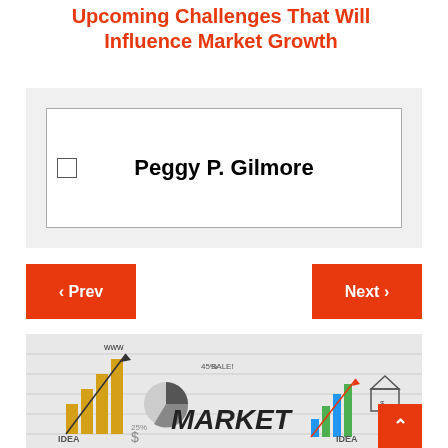Upcoming Challenges That Will Influence Market Growth
Peggy P. Gilmore
[Figure (illustration): Market growth illustration with bar charts, pie charts, arrows, and the word MARKET written on a whiteboard, with a person pointing at the board. Various business/financial icons are drawn on the board.]